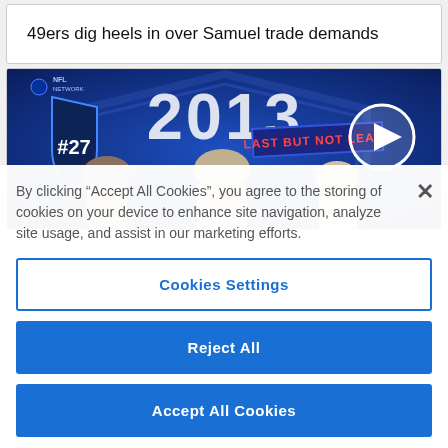49ers dig heels in over Samuel trade demands
[Figure (screenshot): Video thumbnail showing NFL Network broadcast with #27 badge, year 2013, 'LAST BUT NOT LEAST' banner, and play button overlay. People visible in foreground.]
By clicking “Accept All Cookies”, you agree to the storing of cookies on your device to enhance site navigation, analyze site usage, and assist in our marketing efforts.
Cookies Settings
Reject All
Accept All Cookies